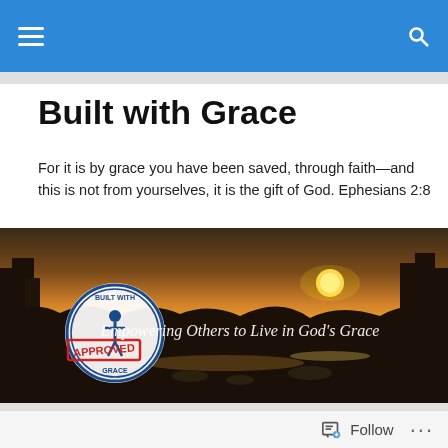Navigation bar with hamburger menu and search icon
Built with Grace
For it is by grace you have been saved, through faith—and this is not from yourselves, it is the gift of God. Ephesians 2:8
[Figure (photo): Sunset lake landscape banner with 'Built with Grace APPROVED' logo stamp on left and cursive text 'Empowering Others to Live in God's Grace' overlaid in white]
God's Message; Gods' Time; God's Power
Follow   ...